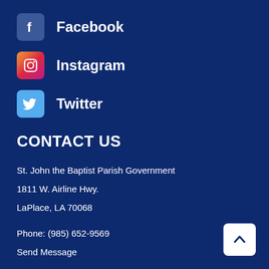Facebook
Instagram
Twitter
CONTACT US
St. John the Baptist Parish Government
1811 W. Airline Hwy.
LaPlace, LA 70068
Phone: (985) 652-9569
Send Message
8:00 a.m. - 4:30 p.m., Mon. - Fri.